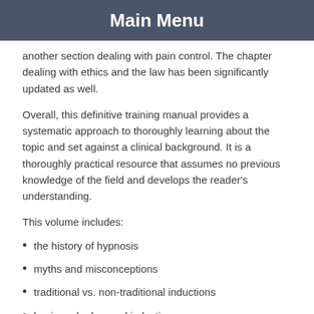Main Menu
another section dealing with pain control. The chapter dealing with ethics and the law has been significantly updated as well.
Overall, this definitive training manual provides a systematic approach to thoroughly learning about the topic and set against a clinical background. It is a thoroughly practical resource that assumes no previous knowledge of the field and develops the reader's understanding.
This volume includes:
the history of hypnosis
myths and misconceptions
traditional vs. non-traditional inductions
basic and advanced inductions
language forms
utilization of ideodynamic responses